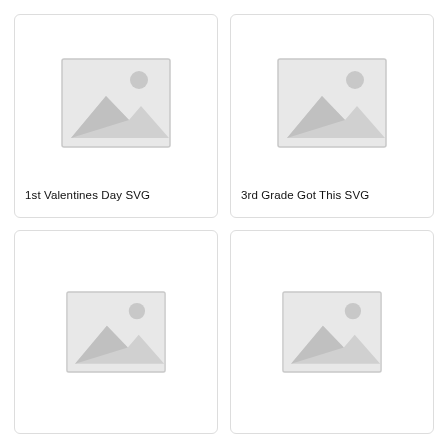[Figure (illustration): Placeholder image icon showing mountains and sun in grey tones]
1st Valentines Day SVG
[Figure (illustration): Placeholder image icon showing mountains and sun in grey tones]
3rd Grade Got This SVG
[Figure (illustration): Placeholder image icon showing mountains and sun in grey tones]
[Figure (illustration): Placeholder image icon showing mountains and sun in grey tones]